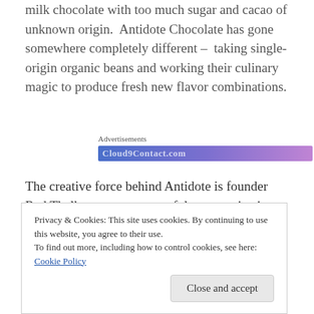milk chocolate with too much sugar and cacao of unknown origin. Antidote Chocolate has gone somewhere completely different – taking single-origin organic beans and working their culinary magic to produce fresh new flavor combinations.
[Figure (other): Advertisements banner with a gradient blue-purple bar and partial text visible]
The creative force behind Antidote is founder Red Thalhammer, a successful communications designer with experience in packaging design for fine foods. Rod
and embodies her admirable qualities. By keeping the
Privacy & Cookies: This site uses cookies. By continuing to use this website, you agree to their use. To find out more, including how to control cookies, see here: Cookie Policy
Close and accept